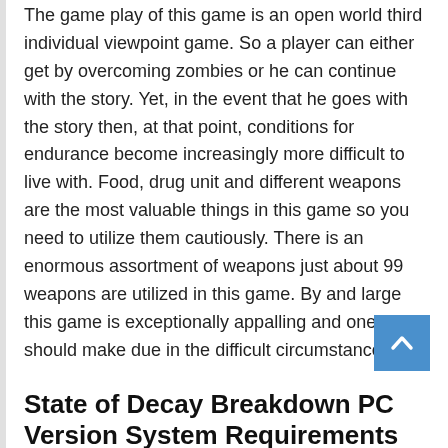The game play of this game is an open world third individual viewpoint game. So a player can either get by overcoming zombies or he can continue with the story. Yet, in the event that he goes with the story then, at that point, conditions for endurance become increasingly more difficult to live with. Food, drug unit and different weapons are the most valuable things in this game so you need to utilize them cautiously. There is an enormous assortment of weapons just about 99 weapons are utilized in this game. By and large this game is exceptionally appalling and one should make due in the difficult circumstances.
State of Decay Breakdown PC Version System Requirements
Your PC should meet these requirements before you start downloading State of Decay Breakdown.